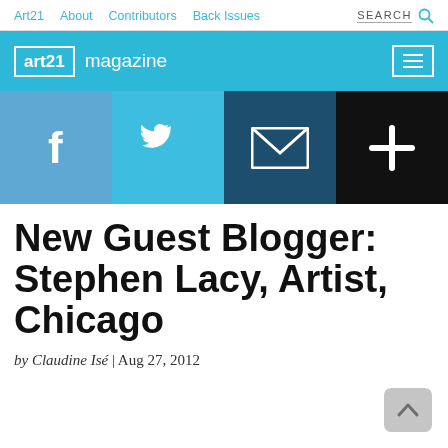Art21  About  Contributors  Back Issues  SEARCH
[Figure (logo): art21 magazine logo with hamburger menu on blue banner]
[Figure (infographic): Social sharing buttons: Facebook, Twitter, Email, Plus]
New Guest Blogger: Stephen Lacy, Artist, Chicago
by Claudine Isé | Aug 27, 2012